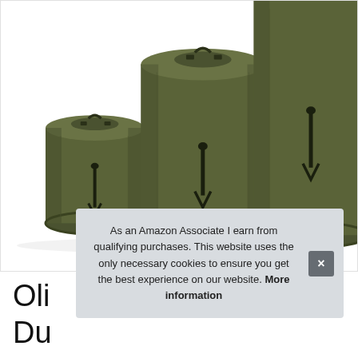[Figure (photo): Three olive/khaki green military-style canvas duffel bags of increasing size arranged from left to right against a white background. The bags are cylindrical with top handles and side zipper pulls. The smallest is on the left, medium in the center, and largest on the right (partially cropped at top).]
Oli
Du
As an Amazon Associate I earn from qualifying purchases. This website uses the only necessary cookies to ensure you get the best experience on our website. More information